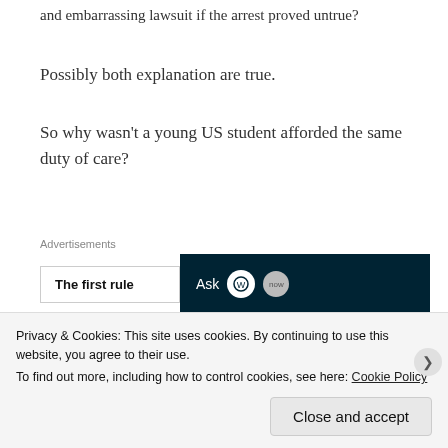and embarrassing lawsuit if the arrest proved untrue?
Possibly both explanation are true.
So why wasn't a young US student afforded the same duty of care?
[Figure (other): Advertisement banner showing 'The first rule' text on left and dark navy panel with 'Ask' text and WordPress circles on right]
And why has The Age not deemed it necessary to apologise to his family?
Privacy & Cookies: This site uses cookies. By continuing to use this website, you agree to their use. To find out more, including how to control cookies, see here: Cookie Policy
Close and accept